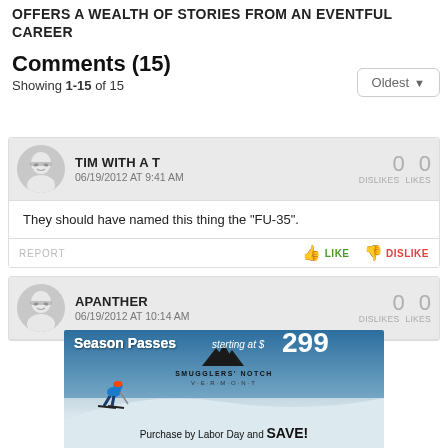OFFERS A WEALTH OF STORIES FROM AN EVENTFUL CAREER
Comments (15)
Showing 1-15 of 15
TIM WITH A T
06/19/2012 AT 9:41 AM
DISLIKES: 0, LIKES: 0
They should have named this thing the "FU-35".
REPORT | LIKE | DISLIKE
APANTHER
06/19/2012 AT 10:14 AM
DISLIKES: 0, LIKES: 0
[Figure (photo): Advertisement for Smugglers' Notch Vermont ski resort: Season Passes starting at $299, Purchase by Labor Day and SAVE!]